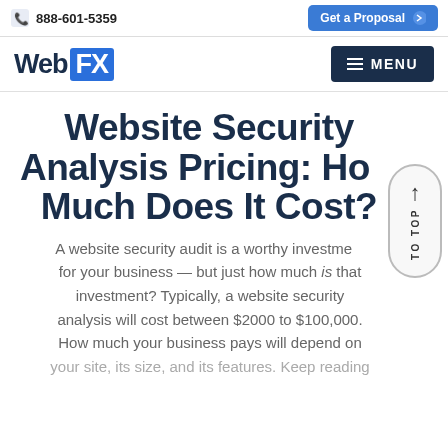888-601-5359 | Get a Proposal
[Figure (logo): WebFX logo with blue FX box and dark navy 'Web' text, alongside a dark navy MENU button]
Website Security Analysis Pricing: How Much Does It Cost?
A website security audit is a worthy investment for your business — but just how much is that investment? Typically, a website security analysis will cost between $2000 to $100,000. How much your business pays will depend on your site, its size, and its features. Keep reading